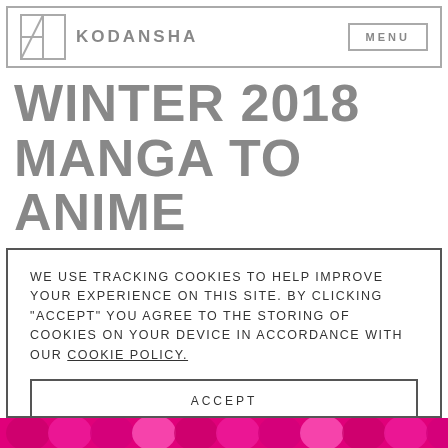KODANSHA   MENU
WINTER 2018 MANGA TO ANIME GUIDE: #KCANIMECLUB
WE USE TRACKING COOKIES TO HELP IMPROVE YOUR EXPERIENCE ON THIS SITE. BY CLICKING "ACCEPT" YOU AGREE TO THE STORING OF COOKIES ON YOUR DEVICE IN ACCORDANCE WITH OUR COOKIE POLICY.
ACCEPT
MANAGE COOKIES